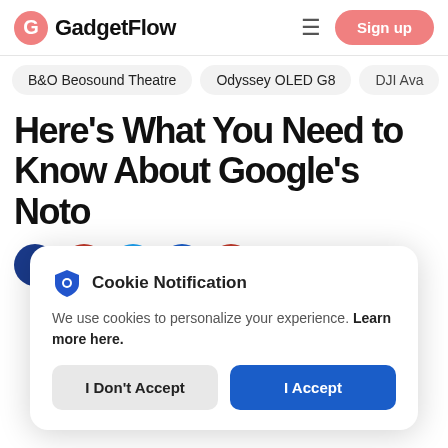GadgetFlow — Sign up
B&O Beosound Theatre
Odyssey OLED G8
DJI Ava
Here's What You Need to Know About Google's Noto
[Figure (illustration): Row of social sharing icon circles: Facebook (dark blue), Pinterest (red), Twitter (light blue), LinkedIn (dark blue), another red circle]
Cookie Notification
We use cookies to personalize your experience. Learn more here.
I Don't Accept | I Accept